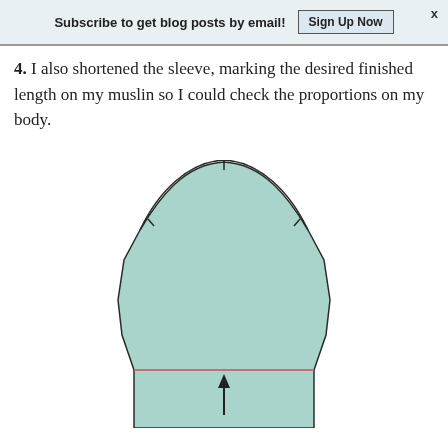Subscribe to get blog posts by email!   Sign Up Now
4. I also shortened the sleeve, marking the desired finished length on my muslin so I could check the proportions on my body.
[Figure (illustration): Illustration of a sewing pattern sleeve piece shown in teal/mint color with dark outline. The sleeve cap curves upward at the top with notch marks. The body of the sleeve tapers wider toward the bottom hem. A horizontal pink/rose line marks the desired finished length near the bottom of the sleeve, and a black upward-pointing arrow below that line indicates the area being removed.]